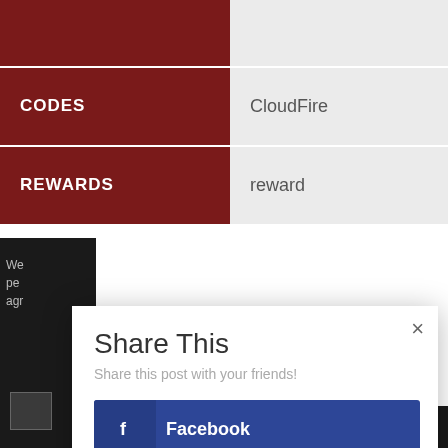|  |  |
| CODES | CloudFire |
| REWARDS | reward |
[Figure (screenshot): Share This modal dialog with Facebook, Twitter, Pinterest, and Like buttons]
Share This
Share this post with your friends!
Facebook
Twitter
Pinterest
Like